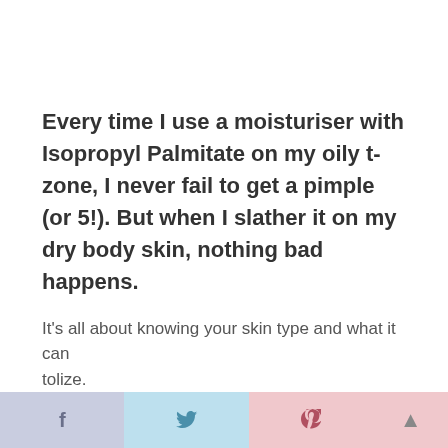Every time I use a moisturiser with Isopropyl Palmitate on my oily t-zone, I never fail to get a pimple (or 5!). But when I slather it on my dry body skin, nothing bad happens.
It's all about knowing your skin type and what it can tolerate.
f  t  p  ▲